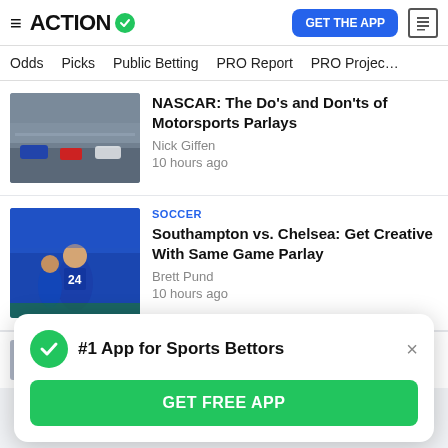ACTION — GET THE APP
Odds | Picks | Public Betting | PRO Report | PRO Project
NASCAR: The Do's and Don'ts of Motorsports Parlays
Nick Giffen
10 hours ago
SOCCER
Southampton vs. Chelsea: Get Creative With Same Game Parlay
Brett Pund
10 hours ago
#1 App for Sports Bettors
GET FREE APP
11 hours ago